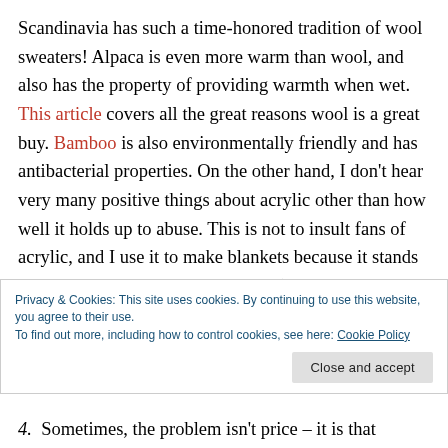Scandinavia has such a time-honored tradition of wool sweaters! Alpaca is even more warm than wool, and also has the property of providing warmth when wet. This article covers all the great reasons wool is a great buy. Bamboo is also environmentally friendly and has antibacterial properties. On the other hand, I don't hear very many positive things about acrylic other than how well it holds up to abuse. This is not to insult fans of acrylic, and I use it to make blankets because it stands up so well to the washer and dryer (I'll pass on handwashing a huge blanket!). However,
Privacy & Cookies: This site uses cookies. By continuing to use this website, you agree to their use.
To find out more, including how to control cookies, see here: Cookie Policy
4. Sometimes, the problem isn't price – it is that